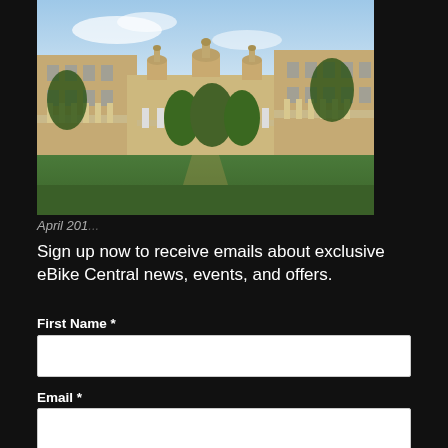[Figure (photo): Exterior photo of a large neoclassical university or government building complex with columns, cupolas, and green lawn in the foreground, taken at golden hour.]
April 201...
Sign up now to receive emails about exclusive eBike Central news, events, and offers.
First Name *
Email *